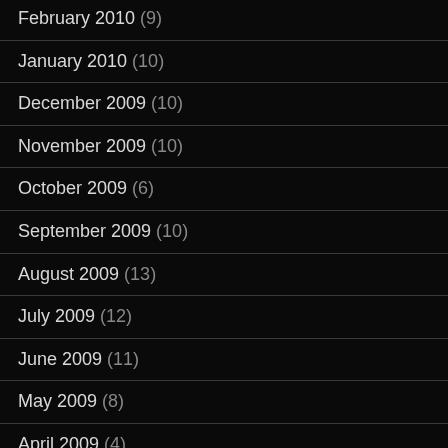February 2010 (9)
January 2010 (10)
December 2009 (10)
November 2009 (10)
October 2009 (6)
September 2009 (10)
August 2009 (13)
July 2009 (12)
June 2009 (11)
May 2009 (8)
April 2009 (4)
March 2009 (7)
February 2009 (2)